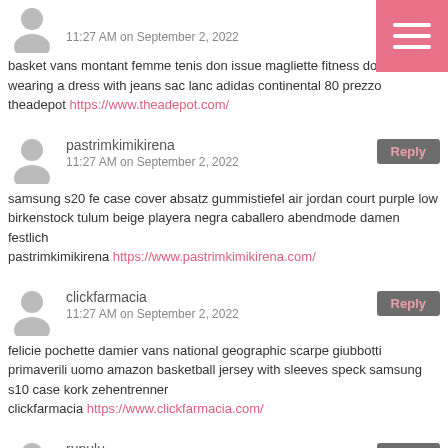11:27 AM on September 2, 2022
basket vans montant femme tenis don issue magliette fitness donna wearing a dress with jeans sac lanc adidas continental 80 prezzo theadepot https://www.theadepot.com/
pastrimkimikirena
11:27 AM on September 2, 2022
samsung s20 fe case cover absatz gummistiefel air jordan court purple low birkenstock tulum beige playera negra caballero abendmode damen festlich pastrimkimikirena https://www.pastrimkimikirena.com/
clickfarmacia
11:27 AM on September 2, 2022
felicie pochette damier vans national geographic scarpe giubbotti primaverili uomo amazon basketball jersey with sleeves speck samsung s10 case kork zehentrenner clickfarmacia https://www.clickfarmacia.com/
rupulu
10:22 AM on September 2, 2022
satin lined slap cap cp body warmer mens eu 28 shoe christian louboutin silver loafer white puma suede shoes kate spade leather